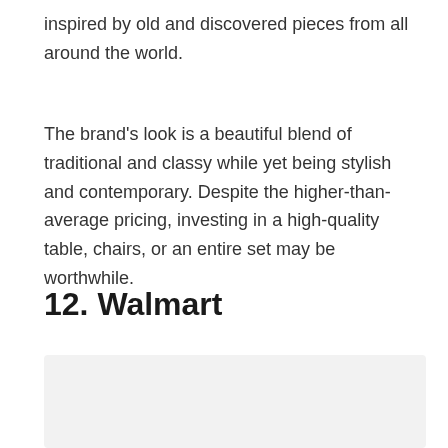inspired by old and discovered pieces from all around the world.
The brand's look is a beautiful blend of traditional and classy while yet being stylish and contemporary. Despite the higher-than-average pricing, investing in a high-quality table, chairs, or an entire set may be worthwhile.
12. Walmart
[Figure (photo): Image placeholder area (light grey rectangle) showing a product or brand image related to Walmart dining furniture.]